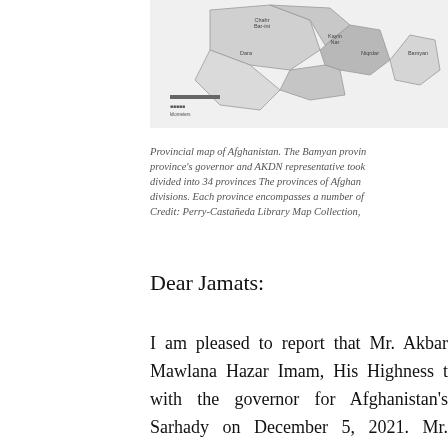[Figure (map): Partial view of a provincial map of Afghanistan showing regions including Bamyan province, with grey shaded districts and labels.]
Provincial map of Afghanistan. The Bamyan province's governor and AKDN representative took divided into 34 provinces The provinces of Afghanistan divisions. Each province encompasses a number of Credit: Perry-Castañeda Library Map Collection,
Dear Jamats:
I am pleased to report that Mr. Akbar Mawlana Hazar Imam, His Highness the with the governor for Afghanistan's Sarhady on December 5, 2021. Mr. Development Network (AKDN) and its and service in the Bamyan province of continue its services in education